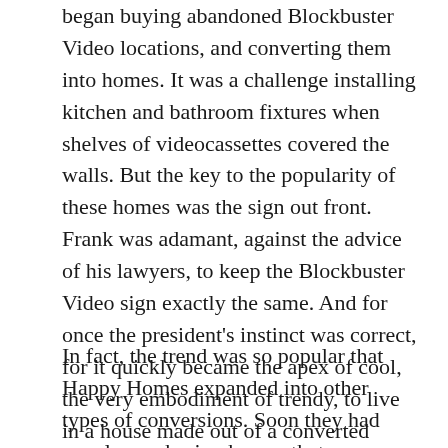began buying abandoned Blockbuster Video locations, and converting them into homes. It was a challenge installing kitchen and bathroom fixtures when shelves of videocassettes covered the walls. But the key to the popularity of these homes was the sign out front. Frank was adamant, against the advice of his lawyers, to keep the Blockbuster Video sign exactly the same. And for once the president’s instinct was correct, for it quickly became the apex of cool, the very embodiment of trendy, to live in a house made out of a converted Blockbuster Video.
In fact, the trend was so popular that Happy Homes expanded into other types of conversions. Soon they had people purchasing homes that were once locations of Borders, Toys R Us, and even Sears. The Sears conversions were especially lucrative because the